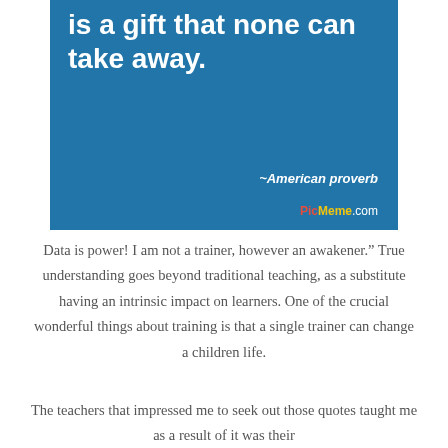[Figure (infographic): Blue background image with white bold text reading 'is a gift that none can take away.' and attribution '~American proverb' with PicMeme.com watermark at bottom right.]
Data is power! I am not a trainer, however an awakener." True understanding goes beyond traditional teaching, as a substitute having an intrinsic impact on learners. One of the crucial wonderful things about training is that a single trainer can change a children life.
The teachers that impressed me to seek out those quotes taught me as a result of it was their